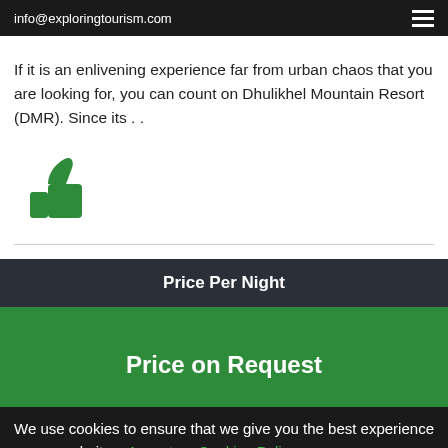info@exploringtourism.com
If it is an enlivening experience far from urban chaos that you are looking for, you can count on Dhulikhel Mountain Resort (DMR). Since its . .
[Figure (illustration): Green thumbs up icon]
| Price Per Night |
| --- |
| Price on Request |
We use cookies to ensure that we give you the best experience on our website  Accept    Cookies Policy
Send Us Your Travel Enquiry